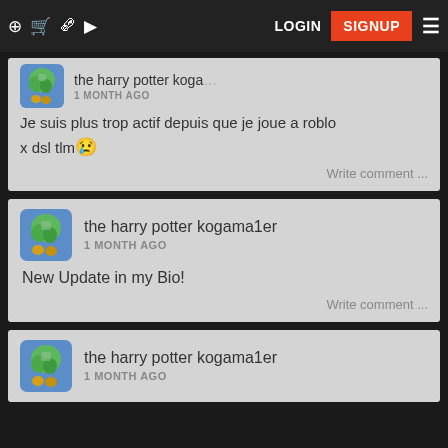LOGIN | SIGNUP
[Figure (screenshot): Partial post card showing avatar and username 'the harry potter koga...' with timestamp '1 MONTH AGO']
Je suis plus trop actif depuis que je joue a roblox dsl tlm 😢
Write comment ...
[Figure (screenshot): Post card with avatar showing 'the harry potter kogama1er' username and '1 MONTH AGO' timestamp]
New Update in my Bio!
Write comment ...
[Figure (screenshot): Partial post card showing avatar and username 'the harry potter kogama1er' with timestamp '1 MONTH AGO']